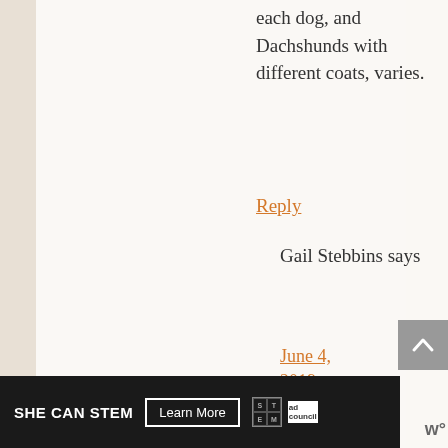each dog, and Dachshunds with different coats, varies.
Reply
Gail Stebbins says
June 4, 2019 at 1:28 PM
[Figure (other): Scroll to top button with upward chevron arrow on grey background]
[Figure (other): SHE CAN STEM advertisement banner with Learn More button, STEM logo, and Ad Council logo on dark background]